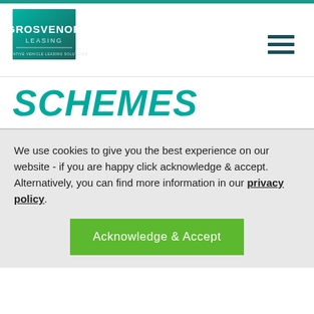[Figure (logo): Grosvenor Leasing logo — teal/green square gradient background with GROSVENOR in white bold text and LEASING below, tagline INNOVATIVE VEHICLE LEASING SOLUTIONS]
SCHEMES
We use cookies to give you the best experience on our website - if you are happy click acknowledge & accept. Alternatively, you can find more information in our privacy policy.
Acknowledge & Accept